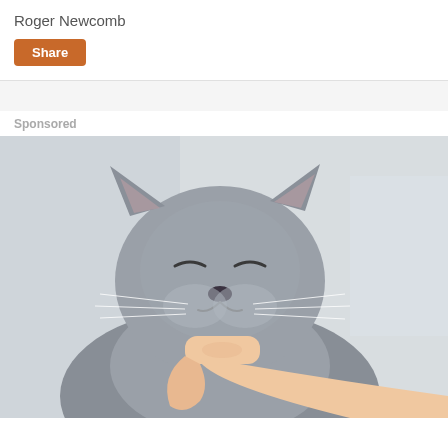Roger Newcomb
Share
Sponsored
[Figure (photo): Close-up photo of a grey British Shorthair cat with eyes closed, appearing content/smiling, while a human hand/finger is held under its chin.]